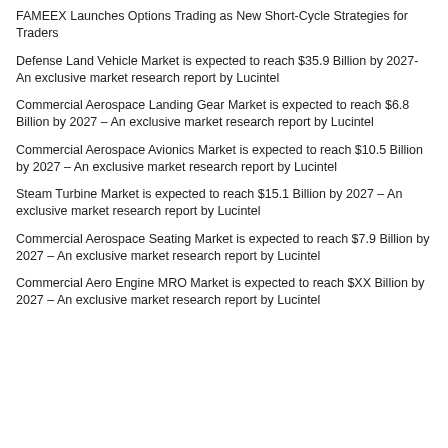FAMEEX Launches Options Trading as New Short-Cycle Strategies for Traders
Defense Land Vehicle Market is expected to reach $35.9 Billion by 2027- An exclusive market research report by Lucintel
Commercial Aerospace Landing Gear Market is expected to reach $6.8 Billion by 2027 – An exclusive market research report by Lucintel
Commercial Aerospace Avionics Market is expected to reach $10.5 Billion by 2027 – An exclusive market research report by Lucintel
Steam Turbine Market is expected to reach $15.1 Billion by 2027 – An exclusive market research report by Lucintel
Commercial Aerospace Seating Market is expected to reach $7.9 Billion by 2027 – An exclusive market research report by Lucintel
Commercial Aero Engine MRO Market is expected to reach $XX Billion by 2027 – An exclusive market research report by Lucintel